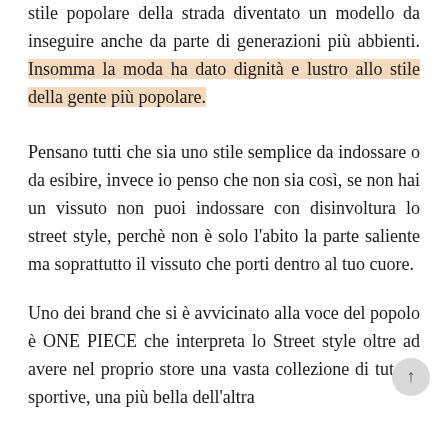stile popolare della strada diventato un modello da inseguire anche da parte di generazioni più abbienti. Insomma la moda ha dato dignità e lustro allo stile della gente più popolare. Pensano tutti che sia uno stile semplice da indossare o da esibire, invece io penso che non sia così, se non hai un vissuto non puoi indossare con disinvoltura lo street style, perchè non è solo l'abito la parte saliente ma soprattutto il vissuto che porti dentro al tuo cuore.
Uno dei brand che si è avvicinato alla voce del popolo è ONE PIECE che interpreta lo Street style oltre ad avere nel proprio store una vasta collezione di tutone sportive, una più bella dell'altra